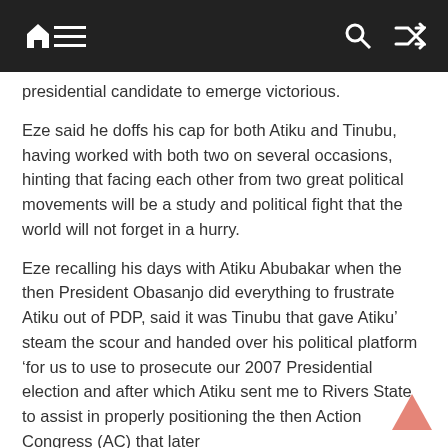navigation bar with home, menu, search, and shuffle icons
presidential candidate to emerge victorious.
Eze said he doffs his cap for both Atiku and Tinubu, having worked with both two on several occasions, hinting that facing each other from two great political movements will be a study and political fight that the world will not forget in a hurry.
Eze recalling his days with Atiku Abubakar when the then President Obasanjo did everything to frustrate Atiku out of PDP, said it was Tinubu that gave Atiku' steam the scour and handed over his political platform ‘for us to use to prosecute our 2007 Presidential election and after which Atiku sent me to Rivers State to assist in properly positioning the then Action Congress (AC) that later